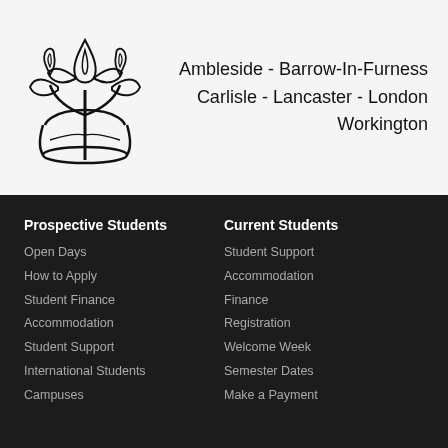[Figure (logo): University logo: stylized lotus/plant with flame design in black outline]
Ambleside - Barrow-In-Furness
Carlisle - Lancaster - London
Workington
Prospective Students
Open Days
How to Apply
Student Finance
Accommodation
Student Support
International Students
Campuses
Current Students
Student Support
Accommodation
Finance
Registration
Welcome Week
Semester Dates
Make a Payment